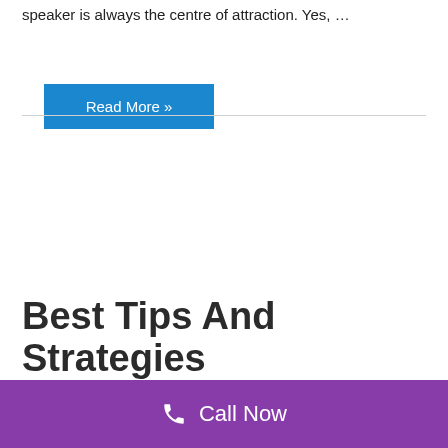speaker is always the centre of attraction. Yes, …
Read More »
Best Tips And Strategies
Call Now